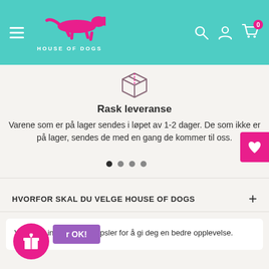[Figure (logo): House of Dogs logo with running dog silhouette in pink on teal header background]
[Figure (illustration): Package/box outline icon in dark pink/mauve color]
Rask leveranse
Varene som er på lager sendes i løpet av 1-2 dager. De som ikke er på lager, sendes de med en gang de kommer til oss.
HVORFOR SKAL DU VELGE HOUSE OF DOGS
Vi bruker informasjonskapsler for å gi deg en bedre opplevelse.
r OK!